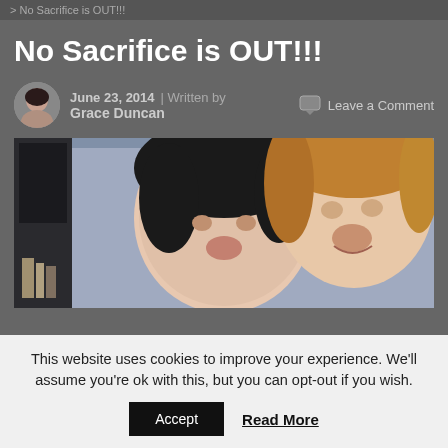No Sacrifice is OUT!!!
No Sacrifice is OUT!!!
June 23, 2014 | Written by Grace Duncan
Leave a Comment
[Figure (illustration): Book cover illustration showing two faces — one with dark hair and one with light/auburn wavy hair — against a bluish-gray interior background with a bookshelf on the left]
This website uses cookies to improve your experience. We’ll assume you’re ok with this, but you can opt-out if you wish.
Accept   Read More